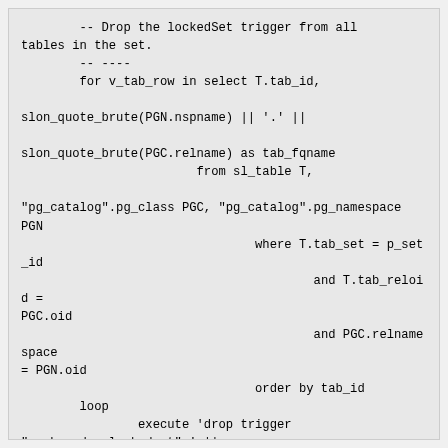-- Drop the lockedSet trigger from all tables in the set.
        -- ----
        for v_tab_row in select T.tab_id,

slon_quote_brute(PGN.nspname) || '.' ||

slon_quote_brute(PGC.relname) as tab_fqname
                        from sl_table T,

"pg_catalog".pg_class PGC, "pg_catalog".pg_namespace PGN
                                where T.tab_set = p_set_id
                                        and T.tab_reloid =
PGC.oid
                                        and PGC.relnamespace
= PGN.oid
                                order by tab_id
        loop
                execute 'drop trigger
"_schemadoc_lockedset" ' ||
                                        'on ' ||
v_tab_row.tab_fqname;
        end loop;

        -- ----
        -- Clear out the set_locked field
        -- ----